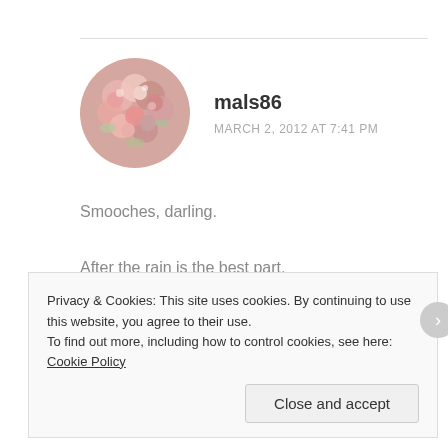[Figure (photo): Circular avatar image of floral arrangement with pink and red flowers]
mals86
MARCH 2, 2012 AT 7:41 PM
Smooches, darling.
After the rain is the best part.
Reply
Privacy & Cookies: This site uses cookies. By continuing to use this website, you agree to their use.
To find out more, including how to control cookies, see here: Cookie Policy
Close and accept